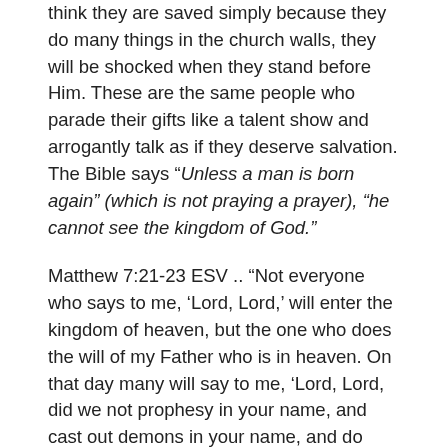think they are saved simply because they do many things in the church walls, they will be shocked when they stand before Him. These are the same people who parade their gifts like a talent show and arrogantly talk as if they deserve salvation. The Bible says “Unless a man is born again” (which is not praying a prayer), “he cannot see the kingdom of God.”
Matthew 7:21-23 ESV .. “Not everyone who says to me, ‘Lord, Lord,’ will enter the kingdom of heaven, but the one who does the will of my Father who is in heaven. On that day many will say to me, ‘Lord, Lord, did we not prophesy in your name, and cast out demons in your name, and do many mighty works in your name?’ And then will I declare to them, ‘I never knew you; depart from me, you workers of lawlessness.’
The End is Gloomy: Jesus spent a lot of